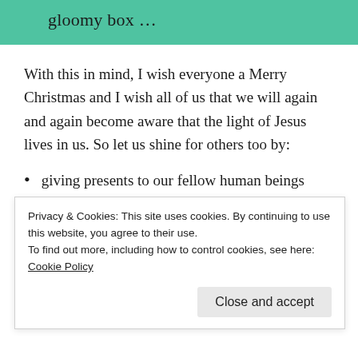gloomy box …
With this in mind, I wish everyone a Merry Christmas and I wish all of us that we will again and again become aware that the light of Jesus lives in us. So let us shine for others too by:
giving presents to our fellow human beings
offering practical help
praying for one another
blessing each other
Privacy & Cookies: This site uses cookies. By continuing to use this website, you agree to their use.
To find out more, including how to control cookies, see here: Cookie Policy
Close and accept